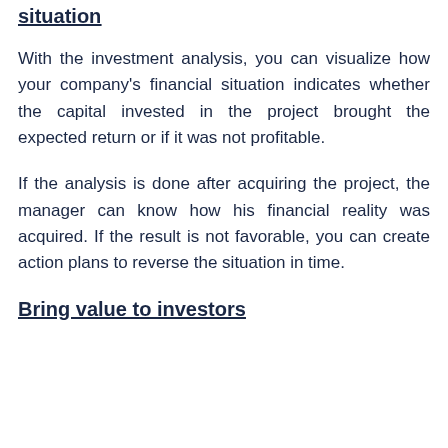situation
With the investment analysis, you can visualize how your company's financial situation indicates whether the capital invested in the project brought the expected return or if it was not profitable.
If the analysis is done after acquiring the project, the manager can know how his financial reality was acquired. If the result is not favorable, you can create action plans to reverse the situation in time.
Bring value to investors